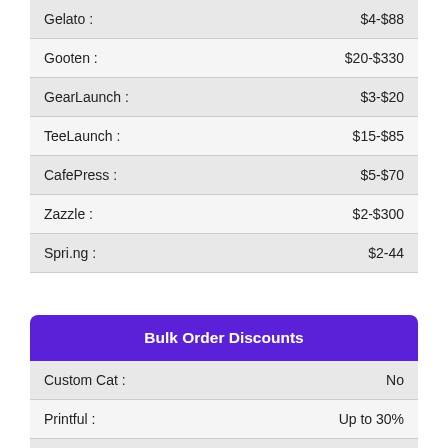| Provider | Price Range |
| --- | --- |
| Gelato : | $4-$88 |
| Gooten : | $20-$330 |
| GearLaunch : | $3-$20 |
| TeeLaunch : | $15-$85 |
| CafePress : | $5-$70 |
| Zazzle : | $2-$300 |
| Spri.ng : | $2-44 |
Bulk Order Discounts
| Provider | Discount |
| --- | --- |
| Custom Cat : | No |
| Printful : | Up to 30% |
| Printify : | No |